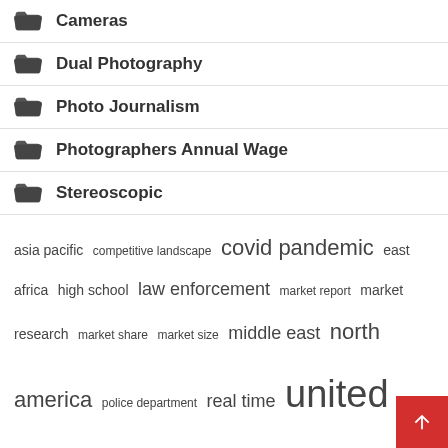Cameras
Dual Photography
Photo Journalism
Photographers Annual Wage
Stereoscopic
asia pacific  competitive landscape  covid pandemic  east africa  high school  law enforcement  market report  market research  market share  market size  middle east  north america  police department  real time  united states
Recent Posts